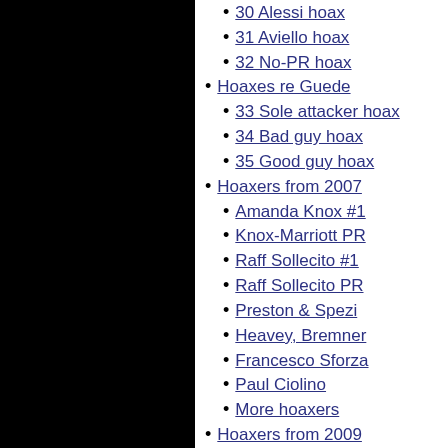30 Alessi hoax
31 Aviello hoax
32 No-PR hoax
Hoaxes re Guede
33 Sole attacker hoax
34 Bad guy hoax
35 Good guy hoax
Hoaxers from 2007
Amanda Knox #1
Knox-Marriott PR
Raff Sollecito #1
Raff Sollecito PR
Preston & Spezi
Heavey, Bremner
Francesco Sforza
Paul Ciolino
More hoaxers
Hoaxers from 2009
Bruce Fischer
Steve Moore
Nina Burleigh
Conti & Vecchioti
Saul Kassin
Elina Miettinen